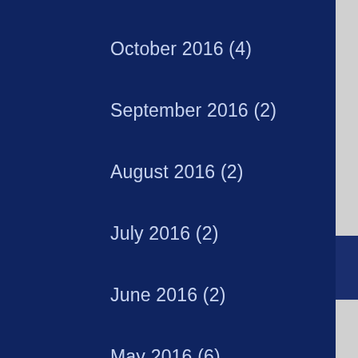October 2016 (4)
September 2016 (2)
August 2016 (2)
July 2016 (2)
June 2016 (2)
May 2016 (6)
April 2016 (10)